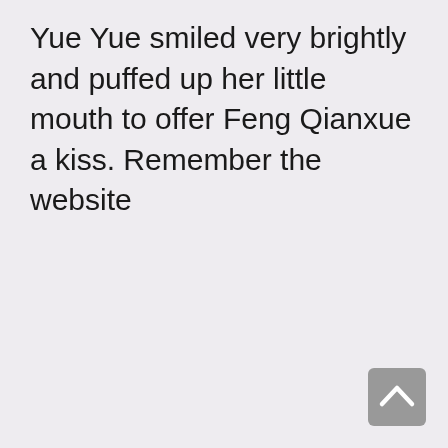Yue Yue smiled very brightly and puffed up her little mouth to offer Feng Qianxue a kiss. Remember the website
[Figure (other): A scroll-to-top button: rounded square with grey background and an upward-pointing chevron arrow icon, positioned in the bottom-right corner.]